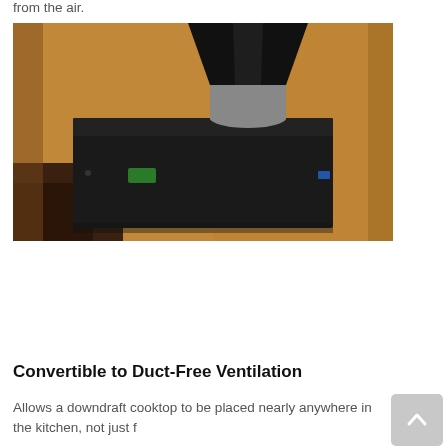from the air.
[Figure (photo): A black downdraft ventilation unit with a cylindrical duct/blower on top, shown installed against a wooden wall background.]
Convertible to Duct-Free Ventilation
Allows a downdraft cooktop to be placed nearly anywhere in the kitchen, not just f...